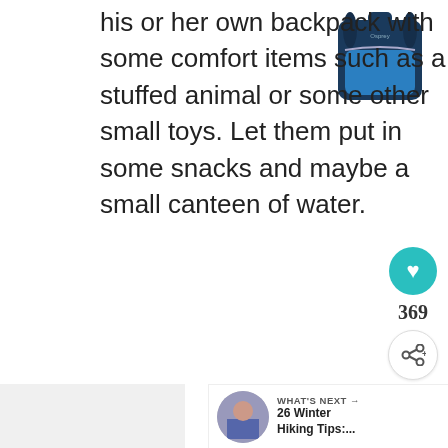his or her own backpack with some comfort items such as a stuffed animal or some other small toys. Let them put in some snacks and maybe a small canteen of water.
[Figure (photo): A blue and navy backpack product photo in the top right corner]
368 SHARES
[Figure (other): Facebook share button (blue)]
[Figure (other): Twitter share button (blue)]
[Figure (other): Pinterest share button (red)]
[Figure (other): Heart/like button (teal circle) with count 369 and share icon]
WHAT'S NEXT → 26 Winter Hiking Tips:...